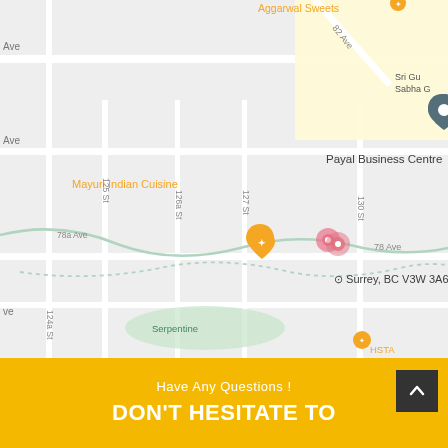[Figure (map): Google Maps screenshot showing Surrey, BC V3W 3A6 area with location pins for Payal Business Centre, Mayuri Indian Cuisine, Afghan Chopan, Day To Day Wholesale Cash & Carry, Bengal Grill, Serpentine, and Great We(st). Streets visible include 82 Ave, 78 Ave, 125 St, 126a St, 127 St, 130 St, 124a St. Various orange restaurant pins and dark blue location pins shown.]
Have Any Questions !
DON'T HESITATE TO CONTACT US ANY TIME